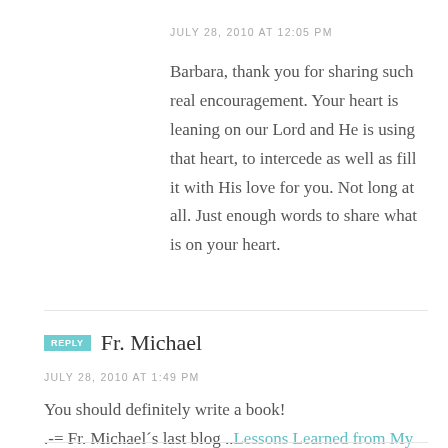JULY 28, 2010 AT 12:05 PM
Barbara, thank you for sharing such real encouragement. Your heart is leaning on our Lord and He is using that heart, to intercede as well as fill it with His love for you. Not long at all. Just enough words to share what is on your heart.
Fr. Michael
JULY 28, 2010 AT 1:49 PM
You should definitely write a book! .-= Fr. Michael´s last blog ..Lessons Learned from My First 10-Miler =-.
Bonnie Gray